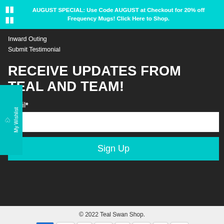🎁 AUGUST SPECIAL: Use Code AUGUST at Checkout for 20% off Frequency Mugs! Click Here to Shop.
Inward Outing
Submit Testimonial
RECEIVE UPDATES FROM TEAL AND TEAM!
Email*
Sign Up
© 2022 Teal Swan Shop.